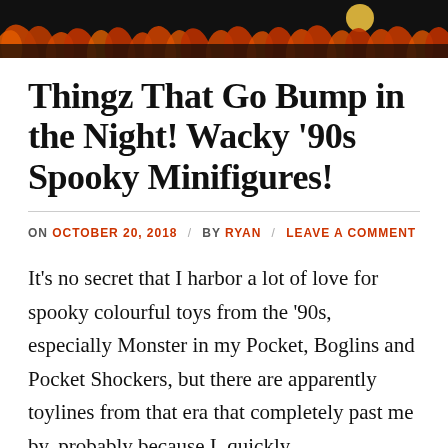[Figure (illustration): Halloween-themed decorative header image with orange flowers/foliage silhouettes against a dark background with a moon]
Thingz That Go Bump in the Night! Wacky '90s Spooky Minifigures!
ON OCTOBER 20, 2018 / BY RYAN / LEAVE A COMMENT
It's no secret that I harbor a lot of love for spooky colourful toys from the '90s, especially Monster in my Pocket, Boglins and Pocket Shockers, but there are apparently toylines from that era that completely past me by, probably because I  quickly